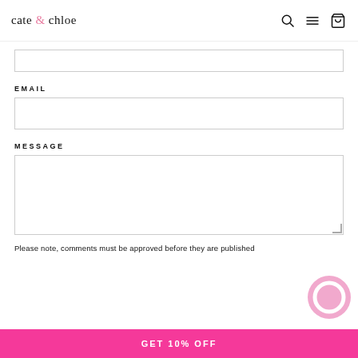cate & chloe
EMAIL
MESSAGE
Please note, comments must be approved before they are published
GET 10% OFF